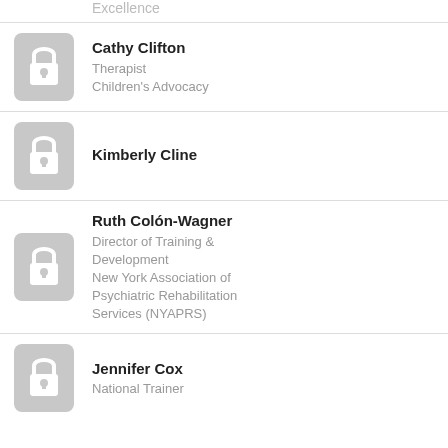Excellence
Cathy Clifton
Therapist
Children's Advocacy
Kimberly Cline
Ruth Colón-Wagner
Director of Training & Development
New York Association of Psychiatric Rehabilitation Services (NYAPRS)
Jennifer Cox
National Trainer